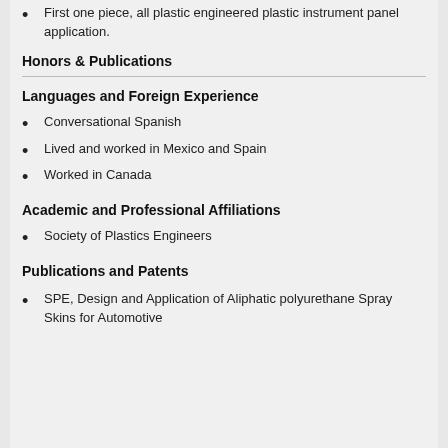First one piece, all plastic engineered plastic instrument panel application.
Honors & Publications
Languages and Foreign Experience
Conversational Spanish
Lived and worked in Mexico and Spain
Worked in Canada
Academic and Professional Affiliations
Society of Plastics Engineers
Publications and Patents
SPE, Design and Application of Aliphatic polyurethane Spray Skins for Automotive